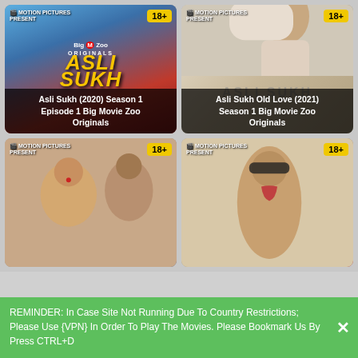[Figure (screenshot): Movie thumbnail card 1: Asli Sukh (2020) Season 1 Episode 1 Big Movie Zoo Originals. 18+ badge top right. Blue and red background with woman in pink dress. Yellow ASLI SUKH title text. Big M Zoo Originals logo.]
Asli Sukh (2020) Season 1 Episode 1 Big Movie Zoo Originals
[Figure (screenshot): Movie thumbnail card 2: Asli Sukh Old Love (2021) Season 1 Big Movie Zoo Originals. 18+ badge top right. Woman in white towel lying on surface.]
Asli Sukh Old Love (2021) Season 1 Big Movie Zoo Originals
[Figure (screenshot): Movie thumbnail card 3: Bottom left. 18+ badge. Couple in romantic pose, woman with bindi.]
[Figure (screenshot): Movie thumbnail card 4: Bottom right. 18+ badge. Woman in red outfit with sunglasses and braid.]
REMINDER: In Case Site Not Running Due To Country Restrictions; Please Use {VPN} In Order To Play The Movies. Please Bookmark Us By Press CTRL+D